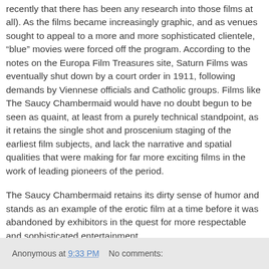recently that there has been any research into those films at all). As the films became increasingly graphic, and as venues sought to appeal to a more and more sophisticated clientele, “blue” movies were forced off the program. According to the notes on the Europa Film Treasures site, Saturn Films was eventually shut down by a court order in 1911, following demands by Viennese officials and Catholic groups. Films like The Saucy Chambermaid would have no doubt begun to be seen as quaint, at least from a purely technical standpoint, as it retains the single shot and proscenium staging of the earliest film subjects, and lack the narrative and spatial qualities that were making for far more exciting films in the work of leading pioneers of the period.
The Saucy Chambermaid retains its dirty sense of humor and stands as an example of the erotic film at a time before it was abandoned by exhibitors in the quest for more respectable and sophisticated entertainment.
Anonymous at 9:33 PM    No comments: